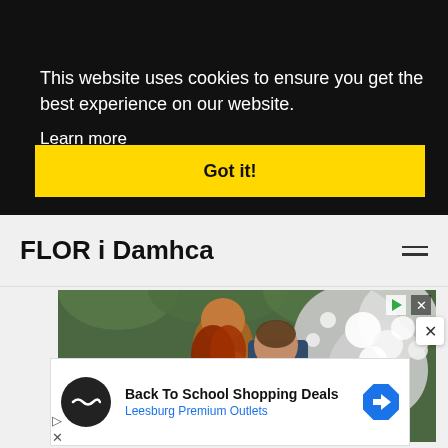This website uses cookies to ensure you get the best experience on our website.
Learn more
Got it!
FLOR i Damhca
[Figure (photo): Wedding couple kissing in front of white floral arrangement backdrop]
[Figure (infographic): Advertisement: Back To School Shopping Deals - Leesburg Premium Outlets]